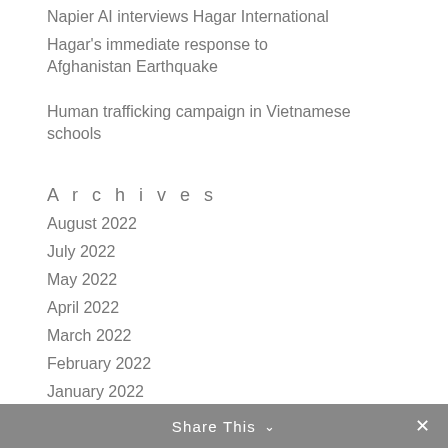Napier AI interviews Hagar International
Hagar's immediate response to Afghanistan Earthquake
Human trafficking campaign in Vietnamese schools
Archives
August 2022
July 2022
May 2022
April 2022
March 2022
February 2022
January 2022
December 2021
Share This ∨  ✕